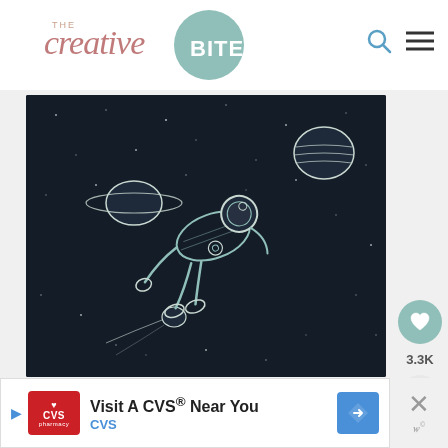THE creative BITE
[Figure (illustration): Dark space illustration showing an astronaut floating/diving in outer space, wearing a spacesuit with teal/white line art style. Surrounding the astronaut are planets including one with rings (Saturn-like), a striped planet (upper right), and a comet/meteor (lower left). The background is dark navy with scattered white star dots.]
3.3K
[Figure (other): CVS advertisement banner: Visit A CVS Near You, with CVS pharmacy logo in red, and a blue navigation/direction icon on the right.]